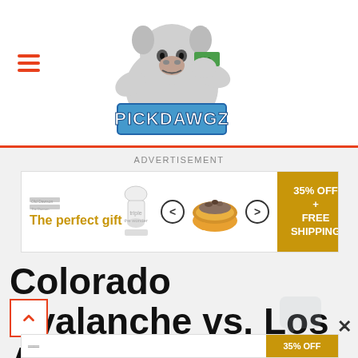[Figure (logo): PickDawgz website logo — bulldog mascot holding money with 'PICKDAWGZ' text in blue block letters]
ADVERTISEMENT
[Figure (screenshot): Advertisement banner: 'The perfect gift' with chef/cooking imagery and '35% OFF + FREE SHIPPING' gold call-to-action box]
Colorado Avalanche vs. Los Angeles Kings - 2/15/20 NHL Pick, Odds, and Prediction
[Figure (screenshot): Partial bottom advertisement banner strip with '35% OFF' visible]